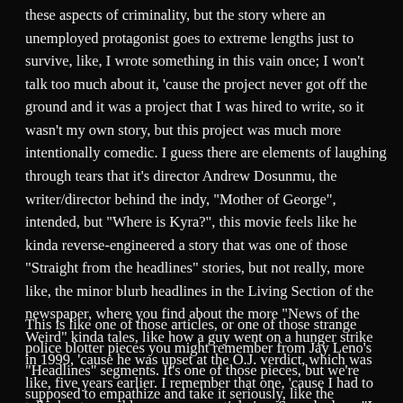these aspects of criminality, but the story where an unemployed protagonist goes to extreme lengths just to survive, like, I wrote something in this vain once; I won't talk too much about it, 'cause the project never got off the ground and it was a project that I was hired to write, so it wasn't my own story, but this project was much more intentionally comedic. I guess there are elements of laughing through tears that it's director Andrew Dosunmu, the writer/director behind the indy, "Mother of George", intended, but "Where is Kyra?", this movie feels like he kinda reverse-engineered a story that was one of those "Straight from the headlines" stories, but not really, more like, the minor blurb headlines in the Living Section of the newspaper, where you find about the more "News of the Weird" kinda tales, like how a guy went on a hunger strike in 1999, 'cause he was upset at the O.J. verdict, which was like, five years earlier. I remember that one, 'cause I had to talk about a weekly newspaper article in a Speech class; "I wonder whatever happened to that guy;" said no one.
This is like one of those articles, or one of those strange police blotter pieces you might remember from Jay Leno's "Headlines" segments. It's one of those pieces, but we're supposed to empathize and take it seriously, like the unfunny, tragic part of those stories